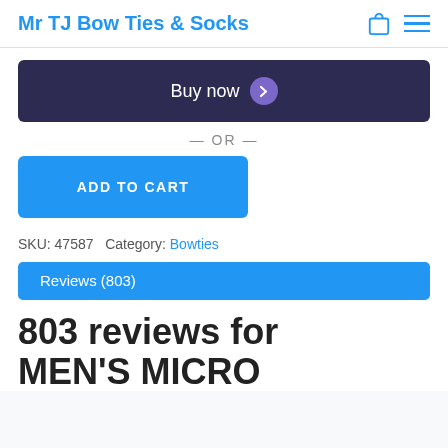Mr TJ Bow Ties & Socks
Buy now
— OR —
ADD TO CART
SKU: 47587   Category: Bowties
Reviews (803)
803 reviews for MEN'S MICRO